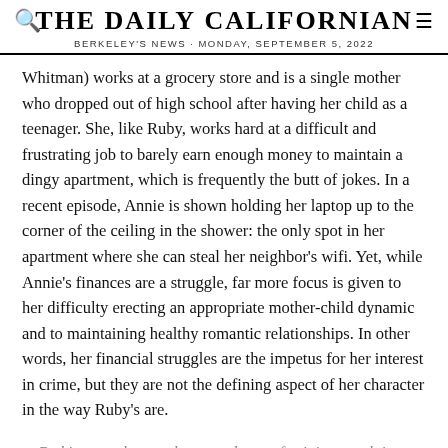THE DAILY CALIFORNIAN
BERKELEY'S NEWS · MONDAY, SEPTEMBER 5, 2022
Whitman) works at a grocery store and is a single mother who dropped out of high school after having her child as a teenager. She, like Ruby, works hard at a difficult and frustrating job to barely earn enough money to maintain a dingy apartment, which is frequently the butt of jokes. In a recent episode, Annie is shown holding her laptop up to the corner of the ceiling in the shower: the only spot in her apartment where she can steal her neighbor's wifi. Yet, while Annie's finances are a struggle, far more focus is given to her difficulty erecting an appropriate mother-child dynamic and to maintaining healthy romantic relationships. In other words, her financial struggles are the impetus for her interest in crime, but they are not the defining aspect of her character in the way Ruby's are.
Beth's struggles are the second-wave feminist complaints: she's unsatisfied with a day of baking cookies for bake sales, attending PTA meetings, taking care of the house, and being married to her